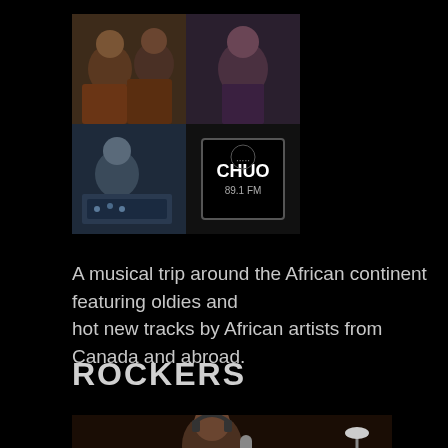[Figure (photo): A collage of four images: top-left shows two people in a radio studio, top-right shows a smiling person, bottom-left shows a person at a radio console, bottom-right shows the CHUO 89.1 FM radio station logo.]
A musical trip around the African continent featuring oldies and hot new tracks by African artists from Canada and abroad.
ROCKERS
[Figure (photo): A person wearing headphones and a white t-shirt speaking into a microphone at a radio studio desk. Papers and a lamp are visible in the background.]